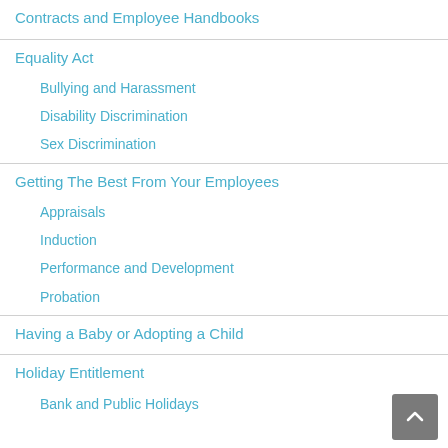Contracts and Employee Handbooks
Equality Act
Bullying and Harassment
Disability Discrimination
Sex Discrimination
Getting The Best From Your Employees
Appraisals
Induction
Performance and Development
Probation
Having a Baby or Adopting a Child
Holiday Entitlement
Bank and Public Holidays